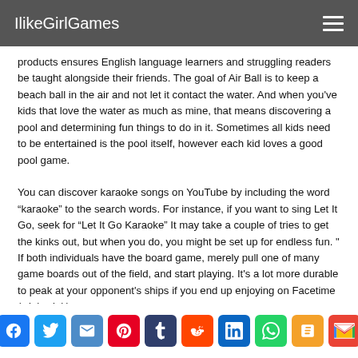IlikeGirlGames
products ensures English language learners and struggling readers be taught alongside their friends. The goal of Air Ball is to keep a beach ball in the air and not let it contact the water. And when you've kids that love the water as much as mine, that means discovering a pool and determining fun things to do in it. Sometimes all kids need to be entertained is the pool itself, however each kid loves a good pool game.
You can discover karaoke songs on YouTube by including the word “karaoke” to the search words. For instance, if you want to sing Let It Go, seek for “Let It Go Karaoke” It may take a couple of tries to get the kinks out, but when you do, you might be set up for endless fun. " If both individuals have the board game, merely pull one of many game boards out of the field, and start playing. It's a lot more durable to peak at your opponent's ships if you end up enjoying on Facetime (wink wink).
[Figure (infographic): Social media sharing icons: Facebook, Twitter, Email, Pinterest, Tumblr, Reddit, LinkedIn, WhatsApp, Blogger, Gmail]